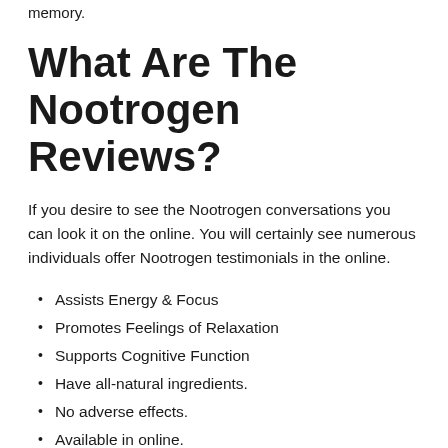memory.
What Are The Nootrogen Reviews?
If you desire to see the Nootrogen conversations you can look it on the online. You will certainly see numerous individuals offer Nootrogen testimonials in the online.
Assists Energy & Focus
Promotes Feelings of Relaxation
Supports Cognitive Function
Have all-natural ingredients.
No adverse effects.
Available in online.